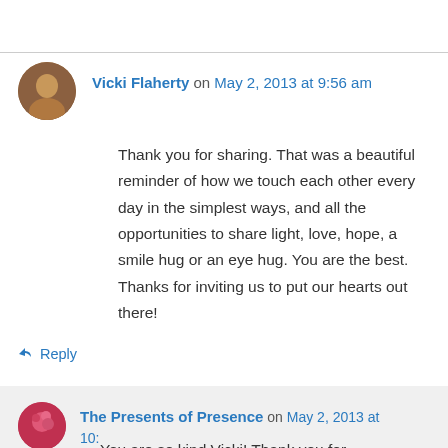Vicki Flaherty on May 2, 2013 at 9:56 am
Thank you for sharing. That was a beautiful reminder of how we touch each other every day in the simplest ways, and all the opportunities to share light, love, hope, a smile hug or an eye hug. You are the best. Thanks for inviting us to put our hearts out there!
↳ Reply
The Presents of Presence on May 2, 2013 at 10:01 am
You are so kind Vicki! Thank you for